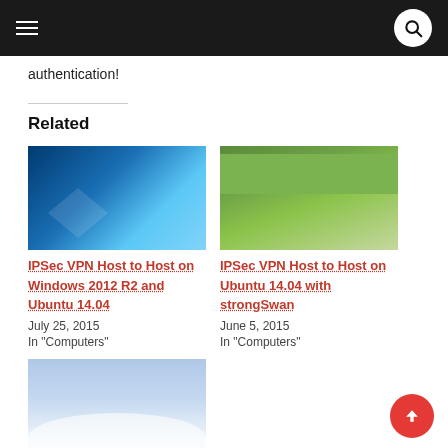Navigation bar with hamburger menu and search button
authentication!
Related
[Figure (photo): Windows 10 desktop wallpaper showing blue gradient with Windows logo]
IPSec VPN Host to Host on Windows 2012 R2 and Ubuntu 14.04
July 25, 2015
In "Computers"
[Figure (photo): Two police officers chasing a swan in a park]
IPSec VPN Host to Host on Ubuntu 14.04 with strongSwan
June 5, 2015
In "Computers"
[Figure (photo): Aerial view of clouds partially obscuring mountains or landscape]